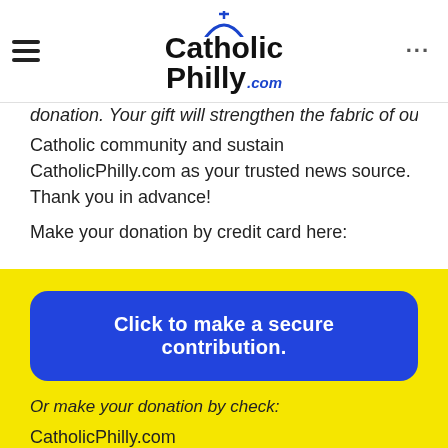[Figure (logo): CatholicPhilly.com logo with blue cross and arch graphic above the text, hamburger menu icon on left, ellipsis on right]
donation. Your gift will strengthen the fabric of our entire Catholic community and sustain CatholicPhilly.com as your trusted news source. Thank you in advance!
Make your donation by credit card here:
[Figure (other): Blue rounded rectangle button with white bold text: Click to make a secure contribution.]
Or make your donation by check:
CatholicPhilly.com
222 N. 17th Street
Philadelphia, PA 19103